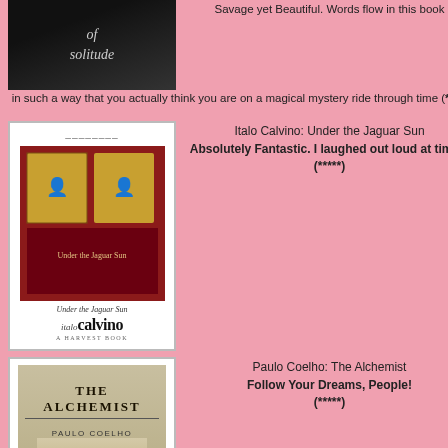[Figure (illustration): Book cover for '100 Years of Solitude' - dark background with partial title text visible]
Savage yet Beautiful. Words flow in this book in such a way that you actually think you are on a magical mystery ride through time (*****)
[Figure (illustration): Book cover for Italo Calvino: Under the Jaguar Sun - red background with figures]
Italo Calvino: Under the Jaguar Sun Absolutely Fantastic. I laughed out loud at times. (*****)
[Figure (illustration): Book cover for Paulo Coelho: The Alchemist - misty castle landscape]
Paulo Coelho: The Alchemist Follow Your Dreams, People! (*****)
all), Tom as a cowboy, my friend Matt as a
beater not shirtless.. shirtless in a gay party tacky) "Ronaldo" which got my attention sin though I wasn't going as Renaldo (the Bra soccer star), I knew who he was.  Needless t chatted but he seemed to be taken, as was I. run home (since I was in shorts and it snowe in the day) was not fun.  I sprinted in the became a race and won, actually beating tw this was only after my friend Matt got his s ride for like
Sunday was a rough start but once I packed i